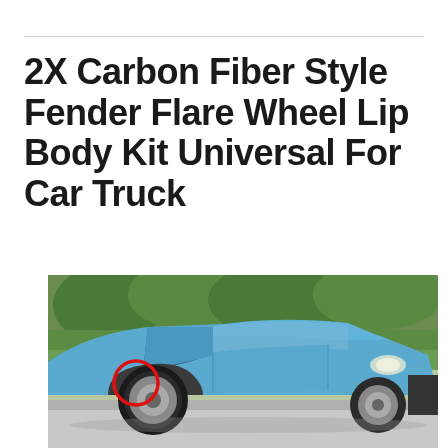2X Carbon Fiber Style Fender Flare Wheel Lip Body Kit Universal For Car Truck
[Figure (photo): A blue compact car photographed from the front-left side, with a red circle highlighting the front wheel well area where a fender flare would be installed. Green bushes and trees are visible in the background.]